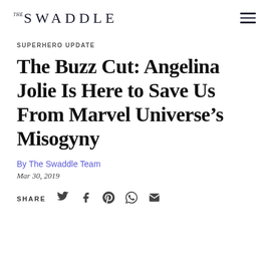THE SWADDLE
SUPERHERO UPDATE
The Buzz Cut: Angelina Jolie Is Here to Save Us From Marvel Universe’s Misogyny
By The Swaddle Team
Mar 30, 2019
SHARE